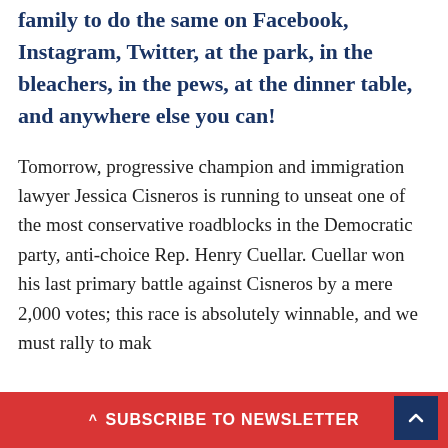family to do the same on Facebook, Instagram, Twitter, at the park, in the bleachers, in the pews, at the dinner table, and anywhere else you can!
Tomorrow, progressive champion and immigration lawyer Jessica Cisneros is running to unseat one of the most conservative roadblocks in the Democratic party, anti-choice Rep. Henry Cuellar. Cuellar won his last primary battle against Cisneros by a mere 2,000 votes; this race is absolutely winnable, and we must rally to make
^ SUBSCRIBE TO NEWSLETTER